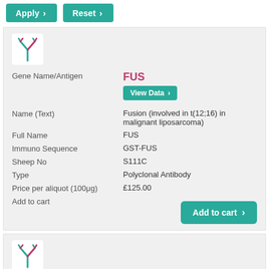[Figure (other): Apply button with teal background and right arrow]
[Figure (other): Reset button with teal background and right arrow]
[Figure (other): Antibody Y-shaped icon in white card]
Gene Name/Antigen
FUS
[Figure (other): View Data button with teal background and right arrow]
Name (Text)
Fusion (involved in t(12;16) in malignant liposarcoma)
Full Name
FUS
Immuno Sequence
GST-FUS
Sheep No
S111C
Type
Polyclonal Antibody
Price per aliquot (100μg)
£125.00
Add to cart
[Figure (other): Add to cart button with teal background and right arrow]
[Figure (other): Second antibody Y-shaped icon in card]